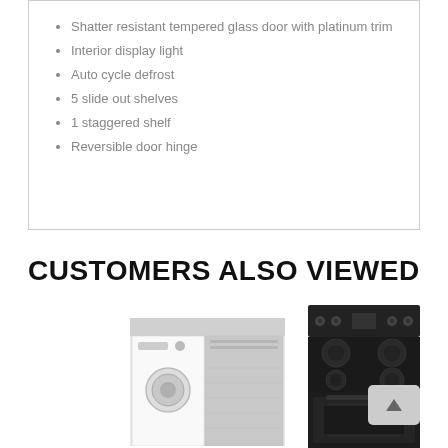Shatter resistant tempered glass door with platinum trim
Interior display light
Auto cycle defrost
5 slide out shelves
1 staggered shelf
Reversible door hinge
CUSTOMERS ALSO VIEWED
[Figure (photo): Stainless steel washing machine / dryer appliance product image]
[Figure (photo): Black electric range stove product image]